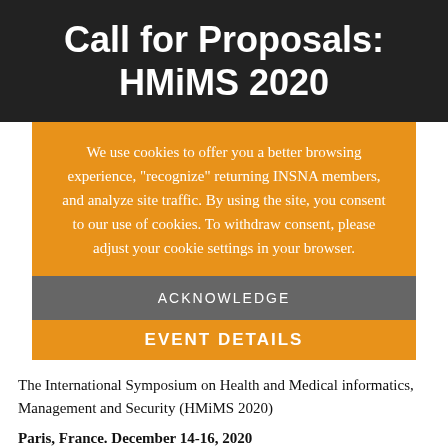Call for Proposals: HMiMS 2020
We use cookies to offer you a better browsing experience, "recognize" returning INSNA members, and analyze site traffic. By using the site, you consent to our use of cookies. To withdraw consent, please adjust your cookie settings in your browser.
ACKNOWLEDGE
EVENT DETAILS
The International Symposium on Health and Medical informatics, Management and Security (HMiMS 2020)
Paris, France. December 14-16, 2020
http://emergingtechnet.org/HMiMS2020/index.php
in conjunction with